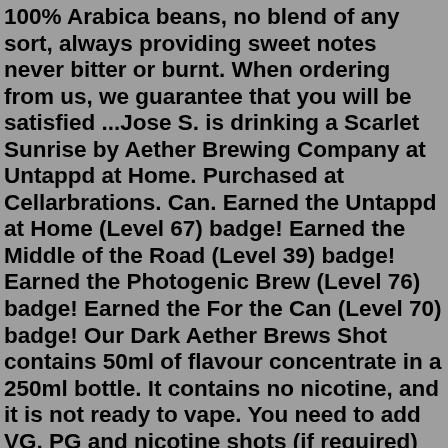100% Arabica beans, no blend of any sort, always providing sweet notes never bitter or burnt. When ordering from us, we guarantee that you will be satisfied ...Jose S. is drinking a Scarlet Sunrise by Aether Brewing Company at Untappd at Home. Purchased at Cellarbrations. Can. Earned the Untappd at Home (Level 67) badge! Earned the Middle of the Road (Level 39) badge! Earned the Photogenic Brew (Level 76) badge! Earned the For the Can (Level 70) badge! Our Dark Aether Brews Shot contains 50ml of flavour concentrate in a 250ml bottle. It contains no nicotine, and it is not ready to vape. You need to add VG, PG and nicotine shots (if required) to create eliquid Contains 50ml of PG based concentrate in a 250ml bottle. Add PG, VG and nicotine (4 nicotine shots to make 3mg). Steep for 7 days. Thrashed (50ml Short Fill) By The Brew Bros Don't know about you but we love apple pie &amp; cinnamon flavours :-) This is the liquid form of just that..... Mmmmmmmh! CONTENTS1 x 0mg 50ml BOTTLEFEATURESHIGH VG 70+ SUITABLE